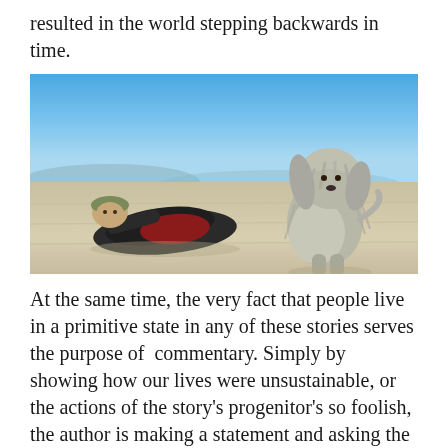resulted in the world stepping backwards in time.
[Figure (photo): A person lying on sandy desert ground in dark clothing with a bandana/hat, propped up with elbows, looking forward. Next to them sits a large, shaggy long-haired gray dog (appears to be a Bearded Collie or similar breed). Blue sky in background with distant mountains or hills on the horizon.]
At the same time, the very fact that people live in a primitive state in any of these stories serves the purpose of  commentary. Simply by showing how our lives were unsustainable, or the actions of the story’s progenitor’s so foolish, the author is making a statement and asking the reader to acknowledge and ponder the deeper issue, whether they realize